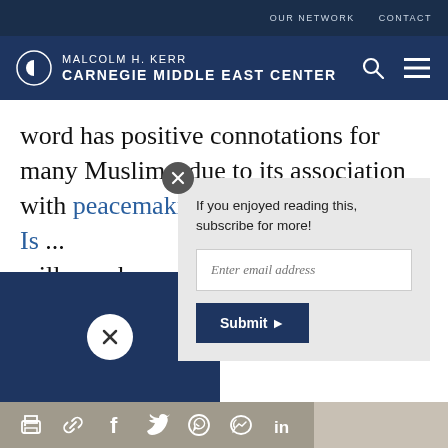OUR NETWORK   CONTACT
[Figure (logo): Malcolm H. Kerr Carnegie Middle East Center logo with Carnegie globe icon]
word has positive connotations for many Muslims, due to its association with peacemaking in the early years of Is... will now b... about the...
If you enjoyed reading this, subscribe for more!
[Figure (screenshot): Email subscription popup with input field and Submit button]
[Figure (infographic): Social sharing toolbar with print, link, Facebook, Twitter, WhatsApp, Messenger, and LinkedIn icons]